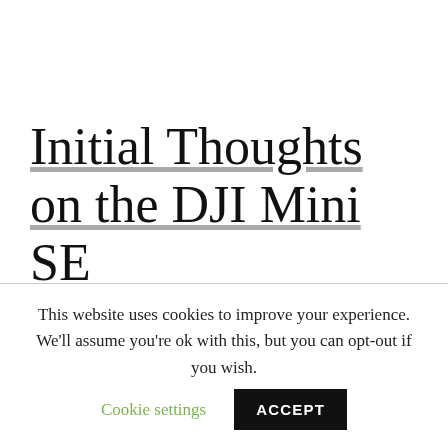Initial Thoughts on the DJI Mini SE
Today I went for my first flight with the DJI
This website uses cookies to improve your experience. We'll assume you're ok with this, but you can opt-out if you wish. Cookie settings ACCEPT